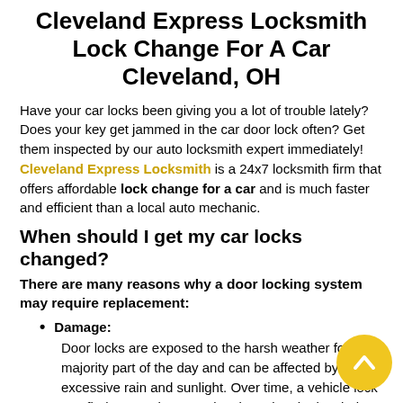Cleveland Express Locksmith Lock Change For A Car Cleveland, OH
Have your car locks been giving you a lot of trouble lately? Does your key get jammed in the car door lock often? Get them inspected by our auto locksmith expert immediately! Cleveland Express Locksmith is a 24x7 locksmith firm that offers affordable lock change for a car and is much faster and efficient than a local auto mechanic.
When should I get my car locks changed?
There are many reasons why a door locking system may require replacement:
Damage:
Door locks are exposed to the harsh weather for the majority part of the day and can be affected by excessive rain and sunlight. Over time, a vehicle lock can find rust and may end up jamming the key hole.